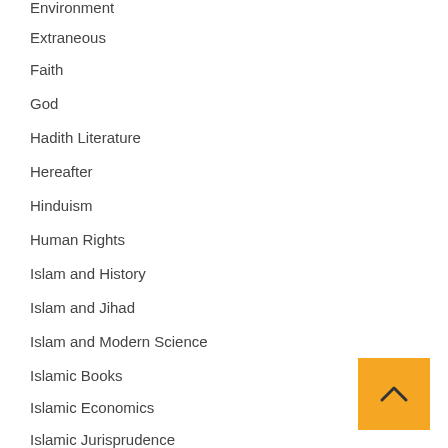Environment
Extraneous
Faith
God
Hadith Literature
Hereafter
Hinduism
Human Rights
Islam and History
Islam and Jihad
Islam and Modern Science
Islamic Books
Islamic Economics
Islamic Jurisprudence